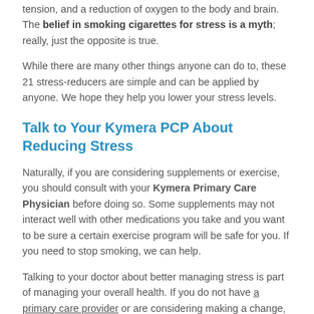tension, and a reduction of oxygen to the body and brain. The belief in smoking cigarettes for stress is a myth; really, just the opposite is true.
While there are many other things anyone can do to, these 21 stress-reducers are simple and can be applied by anyone. We hope they help you lower your stress levels.
Talk to Your Kymera PCP About Reducing Stress
Naturally, if you are considering supplements or exercise, you should consult with your Kymera Primary Care Physician before doing so. Some supplements may not interact well with other medications you take and you want to be sure a certain exercise program will be safe for you. If you need to stop smoking, we can help.
Talking to your doctor about better managing stress is part of managing your overall health. If you do not have a primary care provider or are considering making a change, feel free to request an appointment. We will be happy to help you reduce